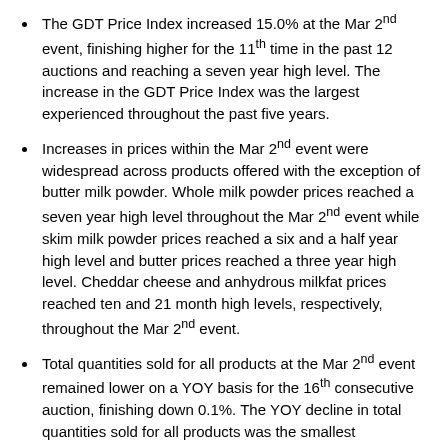The GDT Price Index increased 15.0% at the Mar 2nd event, finishing higher for the 11th time in the past 12 auctions and reaching a seven year high level. The increase in the GDT Price Index was the largest experienced throughout the past five years.
Increases in prices within the Mar 2nd event were widespread across products offered with the exception of butter milk powder. Whole milk powder prices reached a seven year high level throughout the Mar 2nd event while skim milk powder prices reached a six and a half year high level and butter prices reached a three year high level. Cheddar cheese and anhydrous milkfat prices reached ten and 21 month high levels, respectively, throughout the Mar 2nd event.
Total quantities sold for all products at the Mar 2nd event remained lower on a YOY basis for the 16th consecutive auction, finishing down 0.1%. The YOY decline in total quantities sold for all products was the smallest experienced throughout the past 16 auctions, however.